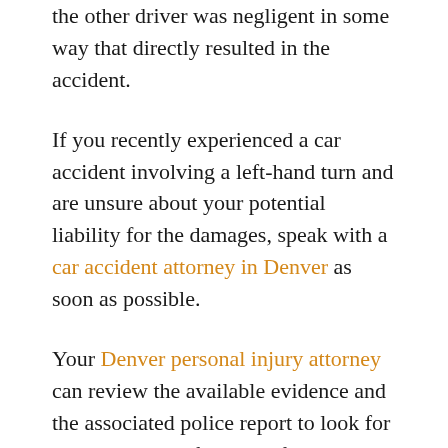the other driver was negligent in some way that directly resulted in the accident.
If you recently experienced a car accident involving a left-hand turn and are unsure about your potential liability for the damages, speak with a car accident attorney in Denver as soon as possible.
Your Denver personal injury attorney can review the available evidence and the associated police report to look for any indicators of liability for the accident. Even if you were partially at fault for a left turn accident, you may still have grounds for